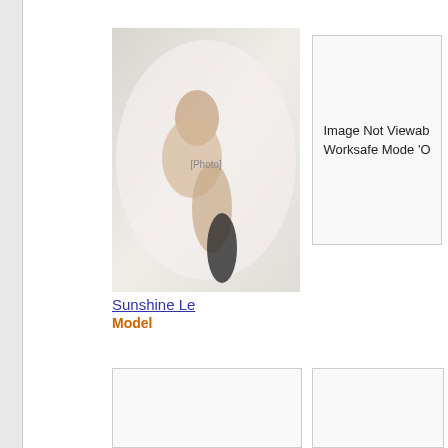[Figure (photo): Photo of Sunshine Le, a model, lying on white sheets]
Sunshine Le
Model
Image Not Viewable in Worksafe Mode 'O
[Figure (other): Empty placeholder box bottom left]
[Figure (other): Empty placeholder box bottom right]